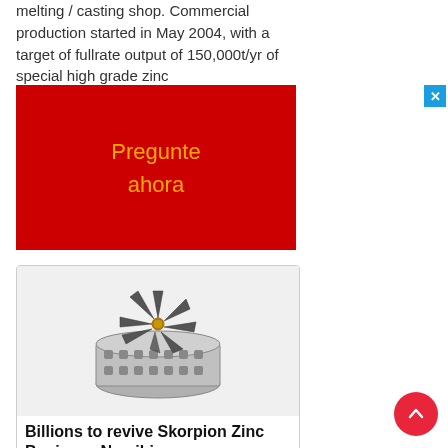melting / casting shop. Commercial production started in May 2004, with a target of fullrate output of 150,000t/yr of special high grade zinc
[Figure (infographic): Red advertisement box with orange text reading 'Pregunte ahora']
[Figure (photo): Industrial impeller or turbine component sitting in a perforated cylindrical cage/basket, metallic grey tones]
Billions to revive Skorpion Zinc Business Namibian